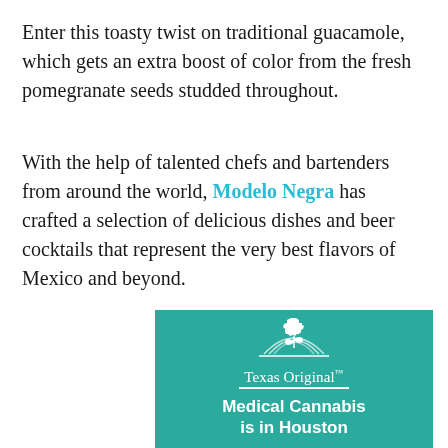Enter this toasty twist on traditional guacamole, which gets an extra boost of color from the fresh pomegranate seeds studded throughout.
With the help of talented chefs and bartenders from around the world, Modelo Negra has crafted a selection of delicious dishes and beer cocktails that represent the very best flavors of Mexico and beyond.
[Figure (logo): Texas Original Medical Cannabis advertisement with teal background, white logo of Texas state shape with plant leaves, text 'Texas Original' and 'Medical Cannabis is in Houston']